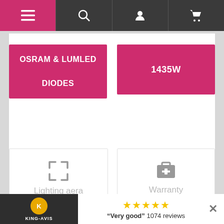[Figure (screenshot): Navigation bar with hamburger menu, search, user, and cart icons on dark background with pink highlight on menu icon]
[Figure (infographic): Product feature card: OSRAM & LUMLED DIODES on pink background]
[Figure (infographic): Product feature card: 1435W on pink background]
[Figure (infographic): Info card: Lighting aera / 150CM X 150CM]
[Figure (infographic): Info card: Warranty / 5 YEARS]
"Very good" 1074 reviews
KING-AVIS